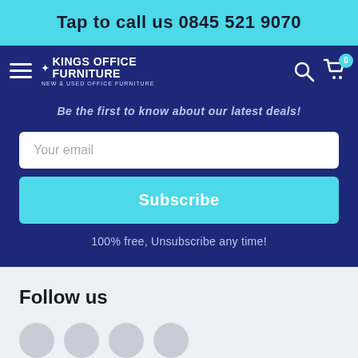Tap to call us 0845 521 9070
[Figure (logo): Kings Office Furniture logo — hamburger menu icon on left, logo with crown icon and text 'KINGS OFFICE FURNITURE / NEW & USED OFFICE FURNITURE', search and cart icons on right]
Be the first to know about our latest deals!
Your email
Subscribe
100% free, Unsubscribe any time!
Follow us